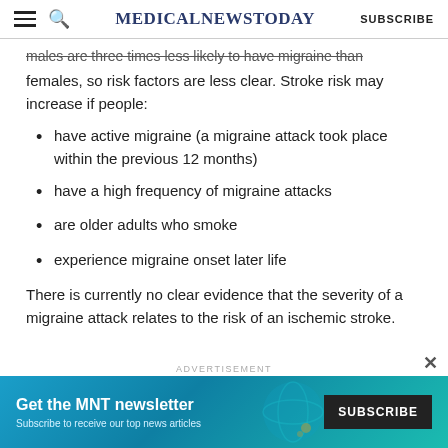MedicalNewsToday — SUBSCRIBE
males are three times less likely to have migraine than females, so risk factors are less clear. Stroke risk may increase if people:
have active migraine (a migraine attack took place within the previous 12 months)
have a high frequency of migraine attacks
are older adults who smoke
experience migraine onset later life
There is currently no clear evidence that the severity of a migraine attack relates to the risk of an ischemic stroke.
[Figure (other): MNT newsletter advertisement banner: 'Get the MNT newsletter — Subscribe to receive our top news articles — SUBSCRIBE button']